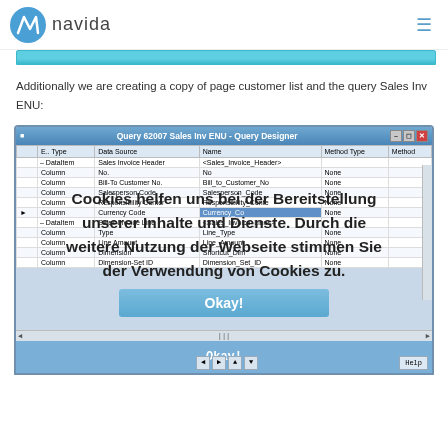navida
[Figure (screenshot): Partial cyan/teal navigation bar strip visible at top]
Additionally we are creating a copy of page customer list and the query Sales Inv ENU:
[Figure (screenshot): Query 62007 Sales Inv ENU - Query Designer window showing a table with columns E.. Type, Data Source, Name, Method Type, Method. Rows include DataItem Sales Invoice Header, Column No., Column Bill-To Customer No., Column Salesperson Code, Column Responsibility Center, Column Currency Code (selected/highlighted), DataItem Sales Invoice Line, Column Type, Column Line Amount, Column Dimension, Column Dimension-Set ID. A cookie consent overlay reads: Cookies helfen uns bei der Bereitstellung unserer Inhalte und Dienste. Durch die weitere Nutzung der Webseite stimmen Sie der Verwendung von Cookies zu. with an Okay! button.]